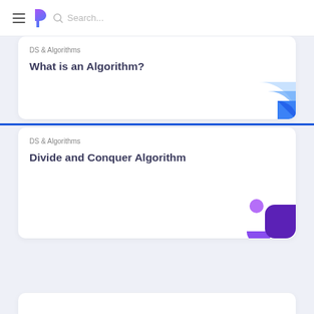Search...
DS & Algorithms
What is an Algorithm?
DS & Algorithms
Divide and Conquer Algorithm